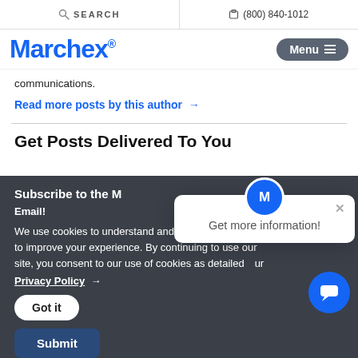SEARCH  (800) 840-1012
Marchex
communications.
Read more posts by this author →
Get Posts Delivered To You
Subscribe to the
Email!
We use cookies to understand and to improve your experience. By continuing to use our site, you consent to our use of cookies as detailed our Privacy Policy →
Got it
Submit
Get more information!